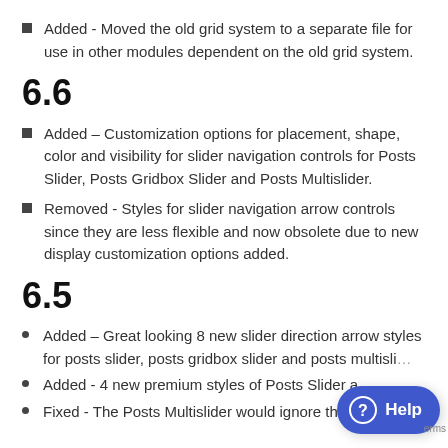Added - Moved the old grid system to a separate file for use in other modules dependent on the old grid system.
6.6
Added – Customization options for placement, shape, color and visibility for slider navigation controls for Posts Slider, Posts Gridbox Slider and Posts Multislider.
Removed - Styles for slider navigation arrow controls since they are less flexible and now obsolete due to new display customization options added.
6.5
Added – Great looking 8 new slider direction arrow styles for posts slider, posts gridbox slider and posts multisli…
Added - 4 new premium styles of Posts Slider a…
Fixed - The Posts Multislider would ignore the image size